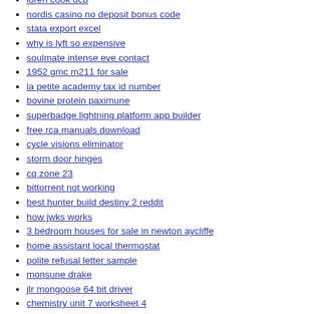loren cook dcb
nordis casino no deposit bonus code
stata export excel
why is lyft so expensive
soulmate intense eye contact
1952 gmc m211 for sale
la petite academy tax id number
bovine protein paximune
superbadge lightning platform app builder
free rca manuals download
cycle visions eliminator
storm door hinges
cq zone 23
bittorrent not working
best hunter build destiny 2 reddit
how jwks works
3 bedroom houses for sale in newton aycliffe
home assistant local thermostat
polite refusal letter sample
monsune drake
jlr mongoose 64 bit driver
chemistry unit 7 worksheet 4
best powerlifters in the world
fates hands chapter 62
thunder dragon combos 2021